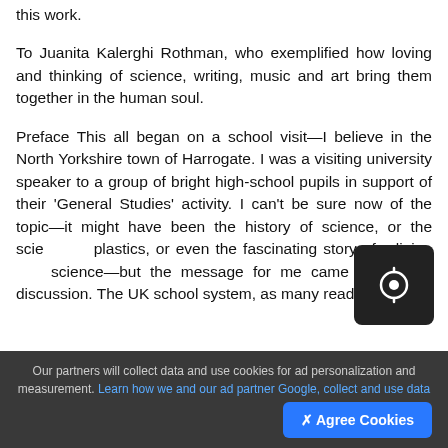this work.
To Juanita Kalerghi Rothman, who exemplified how loving and thinking of science, writing, music and art bring them together in the human soul.
Preface This all began on a school visit—I believe in the North Yorkshire town of Harrogate. I was a visiting university speaker to a group of bright high-school pupils in support of their 'General Studies' activity. I can't be sure now of the topic—it might have been the history of science, or the scie... plastics, or even the fascinating story of religio... science—but the message for me came during the discussion. The UK school system, as many readers
Our partners will collect data and use cookies for ad personalization and measurement. Learn how we and our ad partner Google, collect and use data
✕ Agree Cookies